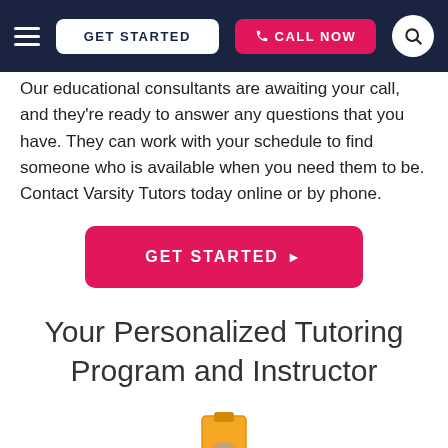GET STARTED | CALL NOW
Our educational consultants are awaiting your call, and they're ready to answer any questions that you have. They can work with your schedule to find someone who is available when you need them to be. Contact Varsity Tutors today online or by phone.
GET STARTED ▶
Your Personalized Tutoring Program and Instructor
[Figure (illustration): Partial illustration of a tutor/clipboard icon at the bottom of the page]